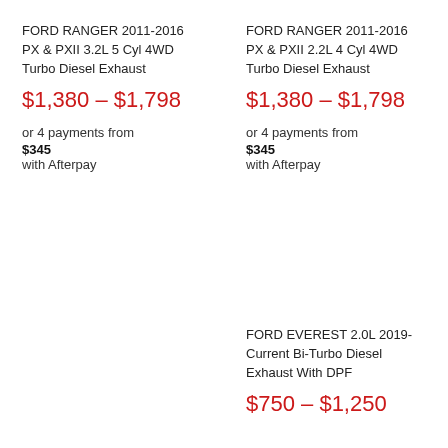FORD RANGER 2011-2016 PX & PXII 3.2L 5 Cyl 4WD Turbo Diesel Exhaust
$1,380 – $1,798
or 4 payments from $345 with Afterpay
FORD RANGER 2011-2016 PX & PXII 2.2L 4 Cyl 4WD Turbo Diesel Exhaust
$1,380 – $1,798
or 4 payments from $345 with Afterpay
FORD EVEREST 2.0L 2019-Current Bi-Turbo Diesel Exhaust With DPF
$750 – $1,250